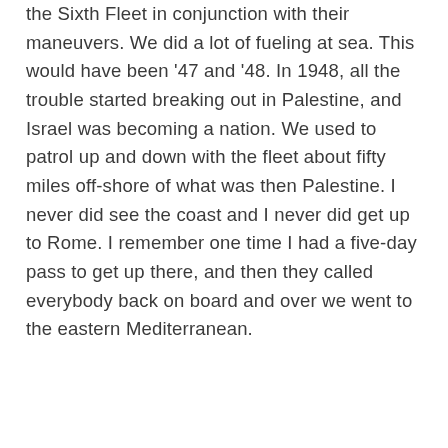the Sixth Fleet in conjunction with their maneuvers. We did a lot of fueling at sea. This would have been '47 and '48. In 1948, all the trouble started breaking out in Palestine, and Israel was becoming a nation. We used to patrol up and down with the fleet about fifty miles off-shore of what was then Palestine. I never did see the coast and I never did get up to Rome. I remember one time I had a five-day pass to get up there, and then they called everybody back on board and over we went to the eastern Mediterranean.